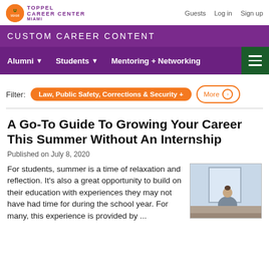TOPPEL CAREER CENTER | MIAMI | Guests  Log in  Sign up
CUSTOM CAREER CONTENT
Alumni  Students  Mentoring + Networking
Filter: Law, Public Safety, Corrections & Security +  More
A Go-To Guide To Growing Your Career This Summer Without An Internship
Published on July 8, 2020
For students, summer is a time of relaxation and reflection. It's also a great opportunity to build on their education with experiences they may not have had time for during the school year. For many, this experience is provided by ...
[Figure (photo): Person sitting by a window reading or using a phone, appearing relaxed in casual clothing]